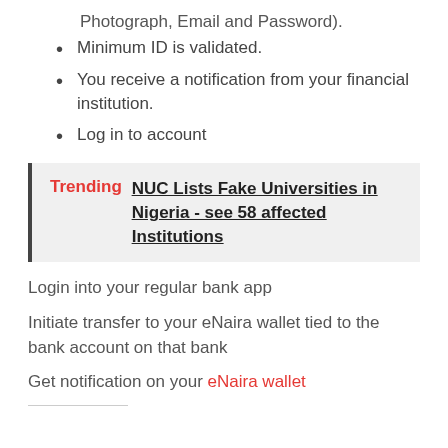Photograph, Email and Password).
Minimum ID is validated.
You receive a notification from your financial institution.
Log in to account
Trending  NUC Lists Fake Universities in Nigeria - see 58 affected Institutions
Login into your regular bank app
Initiate transfer to your eNaira wallet tied to the bank account on that bank
Get notification on your eNaira wallet